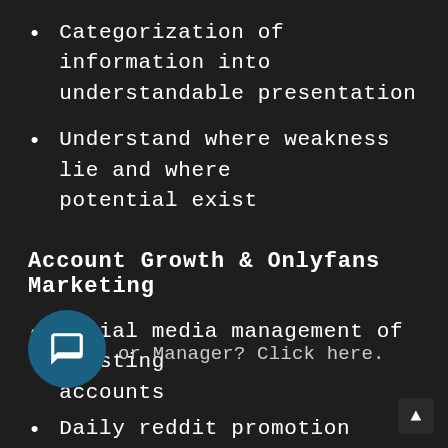Categorization of information into understandable presentation
Understand where weakness lie and where potential exist
Account Growth & Onlyfans Marketing
Social media management of existing accounts
Daily reddit promotion
DM Management
Paid Promo Network & GGs
or Manager? Click here.